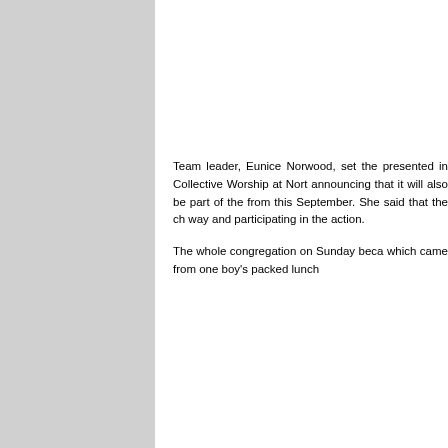Team leader, Eunice Norwood, set the presented in Collective Worship at North announcing that it will also be part of the from this September. She said that the ch way and participating in the action. The whole congregation on Sunday beca which came from one boy's packed lunch